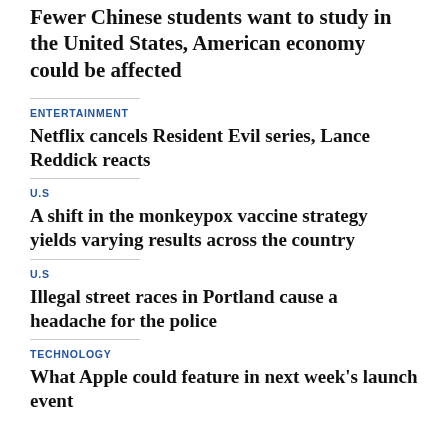Fewer Chinese students want to study in the United States, American economy could be affected
ENTERTAINMENT
Netflix cancels Resident Evil series, Lance Reddick reacts
U.S
A shift in the monkeypox vaccine strategy yields varying results across the country
U.S
Illegal street races in Portland cause a headache for the police
TECHNOLOGY
What Apple could feature in next week's launch event